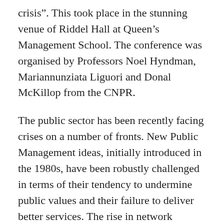crisis". This took place in the stunning venue of Riddel Hall at Queen’s Management School. The conference was organised by Professors Noel Hyndman, Mariannunziata Liguori and Donal McKillop from the CNPR.
The public sector has been recently facing crises on a number of fronts. New Public Management ideas, initially introduced in the 1980s, have been robustly challenged in terms of their tendency to undermine public values and their failure to deliver better services. The rise in network arrangements, often combining private-sector, public-sector and third-sector contributions (sometimes seen as a way of making more resources available to build public-sector capacity), has been criticised for fragmenting service delivery, reducing